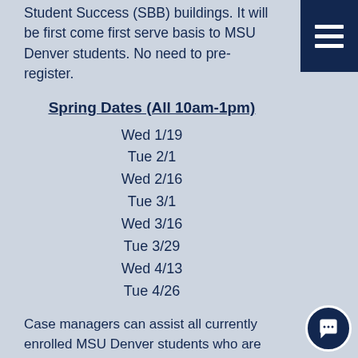Student Success (SBB) buildings. It will be first come first serve basis to MSU Denver students. No need to pre-register.
Spring Dates (All 10am-1pm)
Wed 1/19
Tue 2/1
Wed 2/16
Tue 3/1
Wed 3/16
Tue 3/29
Wed 4/13
Tue 4/26
Case managers can assist all currently enrolled MSU Denver students who are interested in applying for food assistance programs (SNAP), or in exploring additional campus and community services. Please contact the Student Care Center to discuss